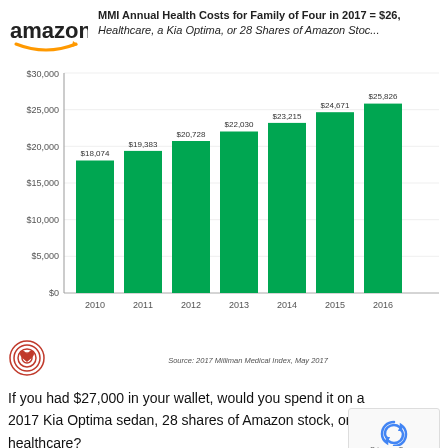[Figure (logo): Amazon logo with orange smile arrow]
MMI Annual Health Costs for Family of Four in 2017 = $26, Healthcare, a Kia Optima, or 28 Shares of Amazon Stock
[Figure (bar-chart): MMI Annual Health Costs for Family of Four]
Source: 2017 Milliman Medical Index, May 2017
[Figure (logo): Heart/love logo icon (concentric circles with heart)]
If you had $27,000 in your wallet, would you spend it on a 2017 Kia Optima sedan, 28 shares of Amazon stock, or healthcare?